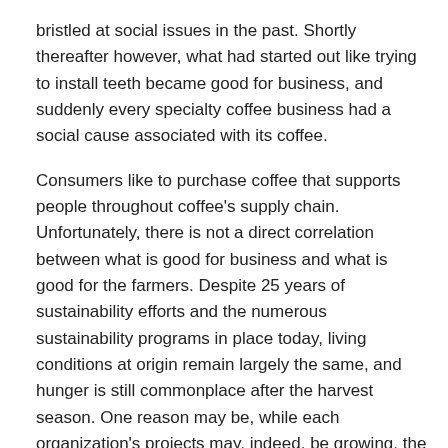bristled at social issues in the past. Shortly thereafter however, what had started out like trying to install teeth became good for business, and suddenly every specialty coffee business had a social cause associated with its coffee.
Consumers like to purchase coffee that supports people throughout coffee's supply chain. Unfortunately, there is not a direct correlation between what is good for business and what is good for the farmers. Despite 25 years of sustainability efforts and the numerous sustainability programs in place today, living conditions at origin remain largely the same, and hunger is still commonplace after the harvest season. One reason may be, while each organization's projects may, indeed, be growing, the expected benefits of the projects remain within the projects' limits and are not expanding organically throughout the countryside.